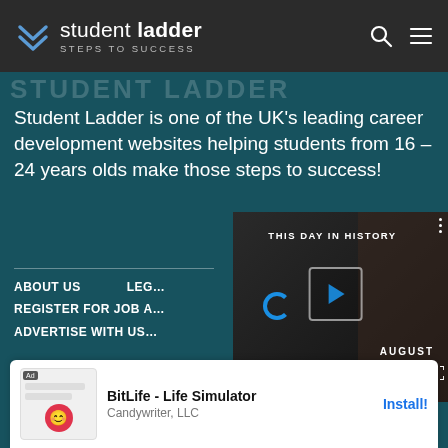student ladder — steps to success
STUDENT LADDER
Student Ladder is one of the UK's leading career development websites helping students from 16 – 24 years olds make those steps to success!
[Figure (screenshot): Video player thumbnail showing 'THIS DAY IN HISTORY' with AUGUST label, play button overlay, muted progress bar, and fullscreen icon]
ABOUT US
LEGAL
REGISTER FOR JOB ALERTS
ADVERTISE WITH US
Made with ♡ by Student Ladder - © 2019
[Figure (screenshot): Mobile ad banner for BitLife - Life Simulator by Candywriter, LLC with Install! button]